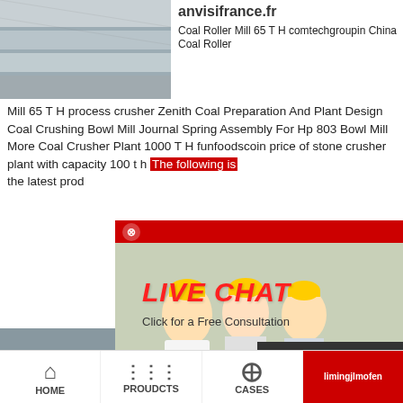[Figure (photo): Industrial structure/rooftop with metal panels, grey tones]
anvisifrance.fr
Coal Roller Mill 65 T H comtechgroupin China Coal Roller Mill 65 T H process crusher Zenith Coal Preparation And Plant Design Coal Crushing Bowl Mill Journal Spring Assembly For Hp 803 Bowl Mill More Coal Crusher Plant 1000 T H funfoodscoin price of stone crusher plant with capacity 100 t h The following is the latest prod
[Figure (photo): Live chat popup with workers in yellow helmets and female customer service representative with headset]
[Figure (photo): Crusher machine with coal/rocks at a mining site]
rangkaian cr kapasitas 20
rangkaian motor u untuk cruscher ra
Need questions & suggestion? Chat Now Enquiry limingjlmofen
HOME   PROUDCTS   CASES   limingjlmofen